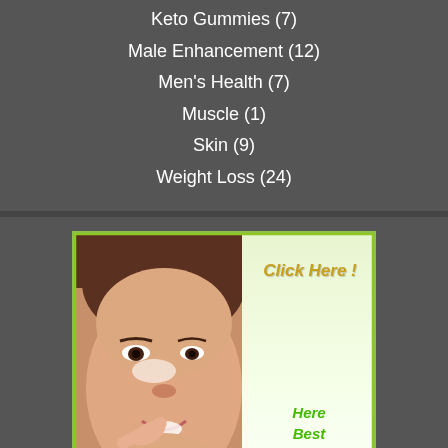Keto Gummies (7)
Male Enhancement (12)
Men's Health (7)
Muscle (1)
Skin (9)
Weight Loss (24)
[Figure (photo): Advertisement banner showing a smiling Asian woman pointing at her face near the eye area, with text overlays 'Click Here!', 'Here Best Skin Tips', and a red 'RUSH MY ORDER NOW / 100% SAFE & SECURE' button. Green border around image on gradient green-white background.]